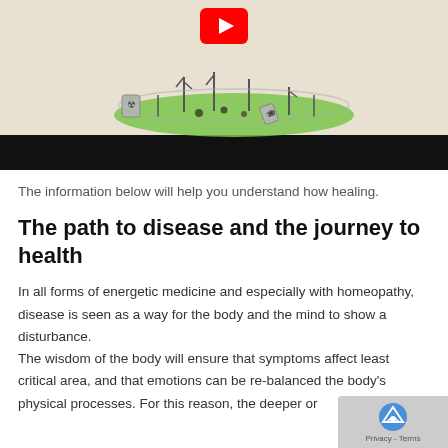[Figure (screenshot): YouTube video thumbnail showing a cartoon animation of a green island with nuclear waste barrels and cartoon microbes/creatures, with a YouTube play button visible at the top center. Below the illustration is a black control bar.]
The information below will help you understand how healing.
The path to disease and the journey to health
In all forms of energetic medicine and especially with homeopathy, disease is seen as a way for the body and the mind to show a disturbance.
The wisdom of the body will ensure that symptoms affect least critical area, and that emotions can be re-balanced the body's physical processes. For this reason, the deeper or